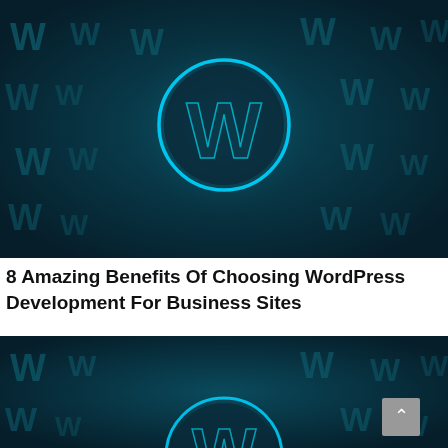[Figure (photo): Dark blue background with multiple WordPress 'W' letter logos in a glowing blue teal tone, with a central glowing WordPress circular logo prominently displayed in the center of the image.]
8 Amazing Benefits Of Choosing WordPress Development For Business Sites
[Figure (photo): Partial view of the same dark blue WordPress logo background image, cropped showing just the top portion with a partially visible circular WordPress logo at the bottom center. A grey scroll-to-top button is visible in the lower right corner.]